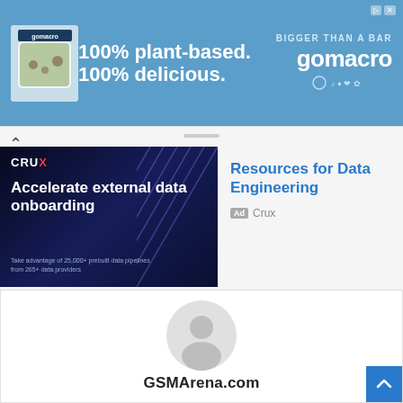[Figure (screenshot): GoMacro advertisement banner: blue background with product image, text '100% plant-based. 100% delicious.' and GoMacro brand logo with tagline 'BIGGER THAN A BAR']
[Figure (screenshot): Crux advertisement with dark blue background showing 'Accelerate external data onboarding' and side panel with 'Resources for Data Engineering' heading, labeled Ad by Crux]
[Figure (screenshot): Generic user profile icon (gray silhouette on white background) with 'GSMArena.com' text below]